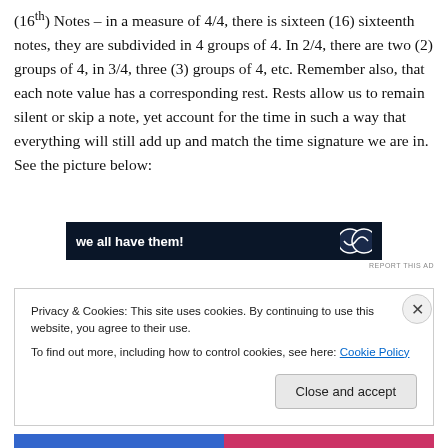(16th) Notes – in a measure of 4/4, there is sixteen (16) sixteenth notes, they are subdivided in 4 groups of 4. In 2/4, there are two (2) groups of 4, in 3/4, three (3) groups of 4, etc. Remember also, that each note value has a corresponding rest. Rests allow us to remain silent or skip a note, yet account for the time in such a way that everything will still add up and match the time signature we are in. See the picture below:
[Figure (other): Dark navy advertisement banner with white bold text 'we all have them!' and circular icon on the right]
REPORT THIS AD
Privacy & Cookies: This site uses cookies. By continuing to use this website, you agree to their use. To find out more, including how to control cookies, see here: Cookie Policy